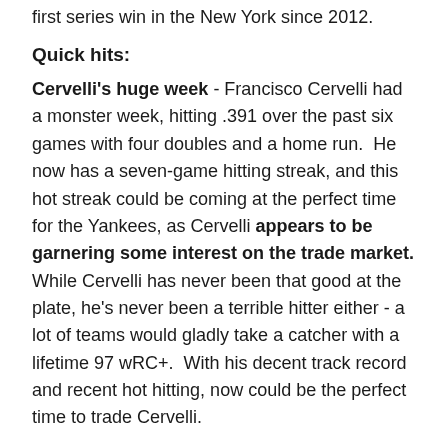first series win in the New York since 2012.
Quick hits:
Cervelli's huge week - Francisco Cervelli had a monster week, hitting .391 over the past six games with four doubles and a home run.  He now has a seven-game hitting streak, and this hot streak could be coming at the perfect time for the Yankees, as Cervelli appears to be garnering some interest on the trade market. While Cervelli has never been that good at the plate, he's never been a terrible hitter either - a lot of teams would gladly take a catcher with a lifetime 97 wRC+.  With his decent track record and recent hot hitting, now could be the perfect time to trade Cervelli.